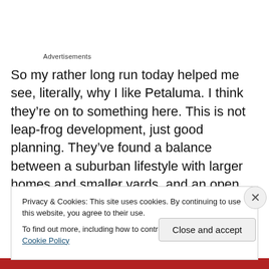Advertisements
So my rather long run today helped me see, literally, why I like Petaluma. I think they’re on to something here. This is not leap-frog development, just good planning. They’ve found a balance between a suburban lifestyle with larger homes and smaller yards, and an open space feel with parks, trails, and open fields. Everything mixed together. For some, it’s the best of both worlds.
Privacy & Cookies: This site uses cookies. By continuing to use this website, you agree to their use.
To find out more, including how to control cookies, see here: Cookie Policy
Close and accept